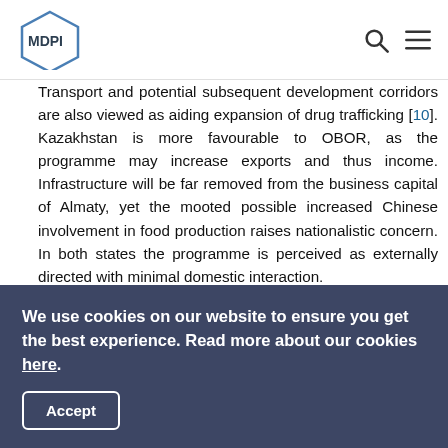MDPI
Transport and potential subsequent development corridors are also viewed as aiding expansion of drug trafficking [10]. Kazakhstan is more favourable to OBOR, as the programme may increase exports and thus income. Infrastructure will be far removed from the business capital of Almaty, yet the mooted possible increased Chinese involvement in food production raises nationalistic concern. In both states the programme is perceived as externally directed with minimal domestic interaction.
To set some context for how OBOR is and will be received on the ground in Central Asia, it is important to note key socio-cultural dynamics in the region. Kyrgyz and Kazakhs are Turkic
We use cookies on our website to ensure you get the best experience. Read more about our cookies here.
Accept